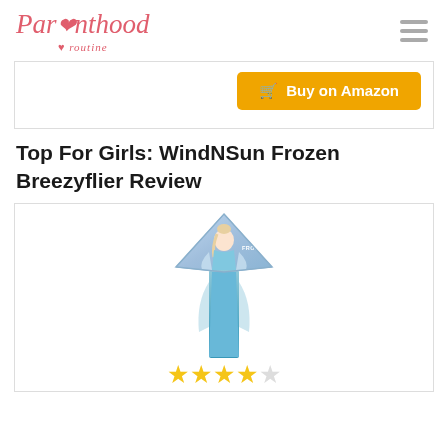Parenthood routine
Buy on Amazon
Top For Girls: WindNSun Frozen Breezyflier Review
[Figure (photo): WindNSun Frozen Breezyflier kite featuring Elsa from Frozen, diamond-cross shaped kite with blue and purple design]
[Figure (other): 4 out of 5 stars rating shown as golden star icons]